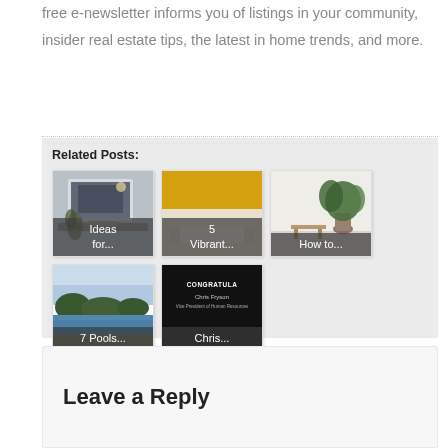free e-newsletter informs you of listings in your community, insider real estate tips, the latest in home trends, and more.
Related Posts:
[Figure (photo): Thumbnail image showing a laptop, labeled 'Ideas for...']
[Figure (photo): Thumbnail with yellow/gold background, labeled '5 Vibrant...']
[Figure (photo): Thumbnail with a plant on a table, labeled 'How to...']
[Figure (photo): Thumbnail of a pool landscape, labeled '7 Pools...']
[Figure (photo): Congratulations card for Chris Fryson, labeled 'Chris...']
Leave a Reply